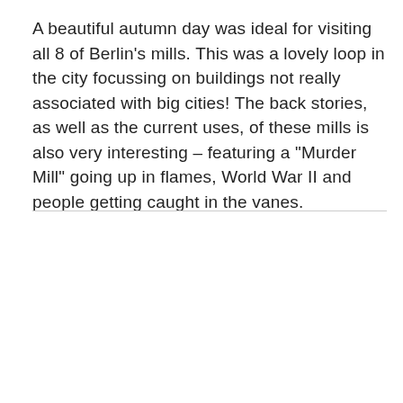A beautiful autumn day was ideal for visiting all 8 of Berlin's mills. This was a lovely loop in the city focussing on buildings not really associated with big cities! The back stories, as well as the current uses, of these mills is also very interesting – featuring a "Murder Mill" going up in flames, World War II and people getting caught in the vanes.